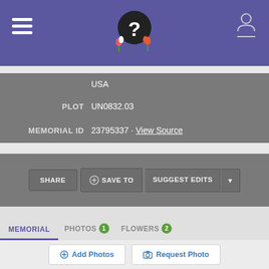FindAGrave memorial page header with hamburger menu, logo, and profile icon
USA
PLOT   UN0832.03
MEMORIAL ID   23795337 · View Source
SHARE | ⊕ SAVE TO | SUGGEST EDITS
MEMORIAL   PHOTOS 1   FLOWERS 2
⊕ Add Photos   📷 Request Photo
UNION CIVIL WAR SOLDIER. SEVED IN CO. B 47TH REGT.PA. VOL..
Flowers • 2
In their memory